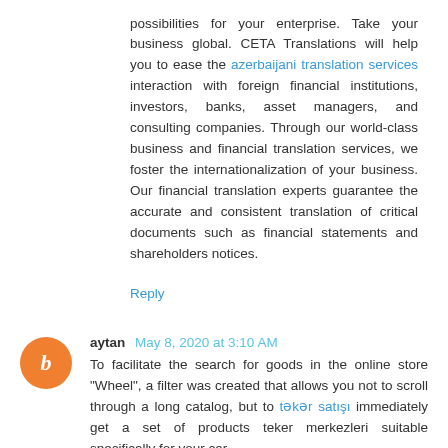possibilities for your enterprise. Take your business global. CETA Translations will help you to ease the azerbaijani translation services interaction with foreign financial institutions, investors, banks, asset managers, and consulting companies. Through our world-class business and financial translation services, we foster the internationalization of your business. Our financial translation experts guarantee the accurate and consistent translation of critical documents such as financial statements and shareholders notices.
Reply
aytan May 8, 2020 at 3:10 AM
To facilitate the search for goods in the online store "Wheel", a filter was created that allows you not to scroll through a long catalog, but to təkər satışı immediately get a set of products teker merkezleri suitable specifically for your car.
Reply